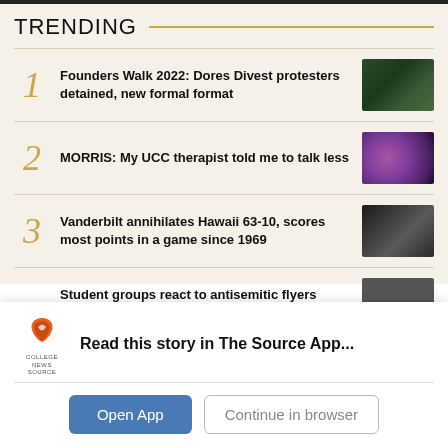TRENDING
1 Founders Walk 2022: Dores Divest protesters detained, new formal format
2 MORRIS: My UCC therapist told me to talk less
3 Vanderbilt annihilates Hawaii 63-10, scores most points in a game since 1969
Student groups react to antisemitic flyers found in West
Read this story in The Source App...
Open App
Continue in browser